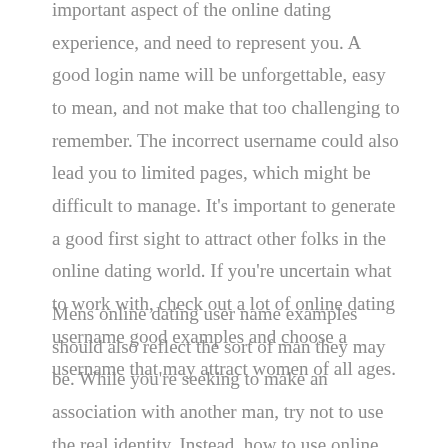important aspect of the online dating experience, and need to represent you. A good login name will be unforgettable, easy to mean, and not make that too challenging to remember. The incorrect username could also lead you to limited pages, which might be difficult to manage. It's important to generate a good first sight to attract other folks in the online dating world. If you're uncertain what to work with, check out a lot of online dating username good examples and choose a username that may attract women of all ages.
Mens online dating user name examples should also reflect the sort of man they may be. While you're seeking to make an association with another man, try not to use the real identity. Instead, how to use online